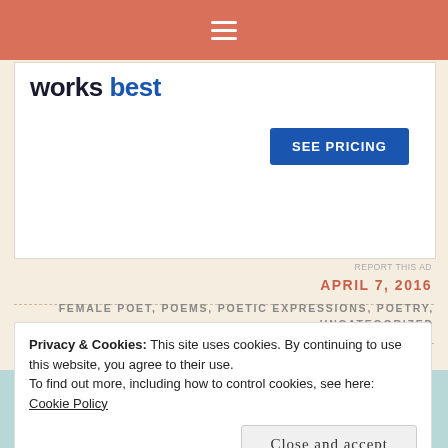≡
[Figure (other): Advertisement banner with text 'works best' in dark and blue, and a blue 'SEE PRICING' button]
REPORT THIS AD
APRIL 7, 2016
FEMALE POET, POEMS, POETIC EXPRESSIONS, POETRY, UNCATEGORIZED
LEAVE A COMMENT
Privacy & Cookies: This site uses cookies. By continuing to use this website, you agree to their use.
To find out more, including how to control cookies, see here: Cookie Policy
Close and accept